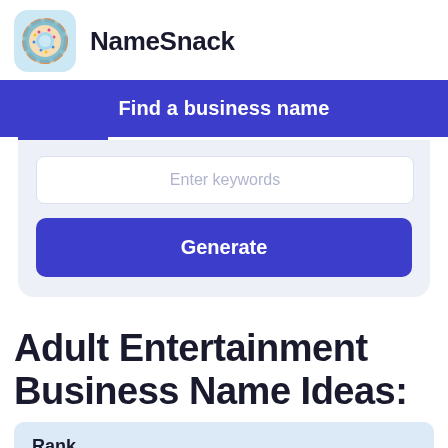[Figure (logo): NameSnack donut logo icon in light blue rounded square]
NameSnack
Find a business name
Enter keywords
Generate
Adult Entertainment Business Name Ideas:
| Rank |
| --- |